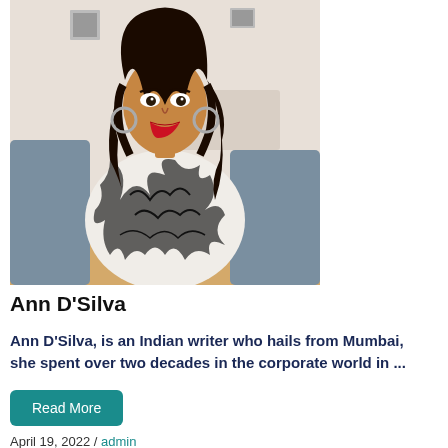[Figure (photo): A young woman with long dark curly hair, wearing a black and white zebra-print dress, sitting on a sofa with a living room background.]
Ann D'Silva
Ann D'Silva, is an Indian writer who hails from Mumbai, she spent over two decades in the corporate world in ...
Read More
April 19, 2022 / admin